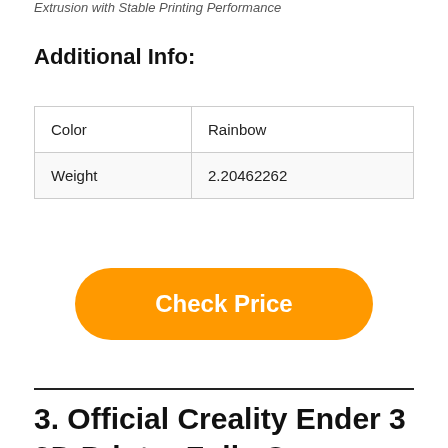Extrusion with Stable Printing Performance
Additional Info:
| Color | Rainbow |
| Weight | 2.20462262 |
Check Price
3. Official Creality Ender 3 3D Printer Fully Open Source with Resume Printing Function DIY 3D